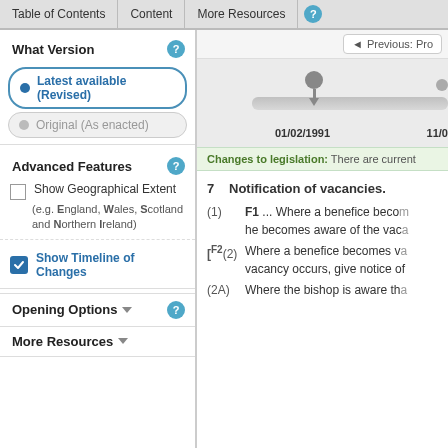Table of Contents | Content | More Resources
What Version
Latest available (Revised)
Original (As enacted)
Advanced Features
Show Geographical Extent (e.g. England, Wales, Scotland and Northern Ireland)
Show Timeline of Changes
Opening Options
More Resources
[Figure (other): Timeline slider showing date 01/02/1991 and 11/0... with a pin marker]
Changes to legislation: There are current
7  Notification of vacancies.
(1) F1 ... Where a benefice becom he becomes aware of the vaca
[F2(2) Where a benefice becomes va vacancy occurs, give notice of
(2A) Where the bishop is aware tha